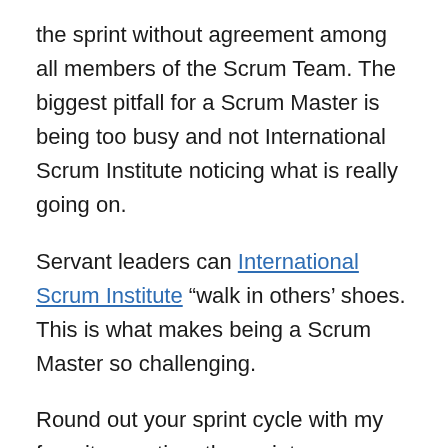the sprint without agreement among all members of the Scrum Team. The biggest pitfall for a Scrum Master is being too busy and not International Scrum Institute noticing what is really going on.
Servant leaders can International Scrum Institute "walk in others' shoes. This is what makes being a Scrum Master so challenging.
Round out your sprint cycle with my favorite meeting, the sprint retrospective. However, nowadays we have tools that allow us to deploy applications in no-time and in a risk-free manner.
5 Ways International Scrum